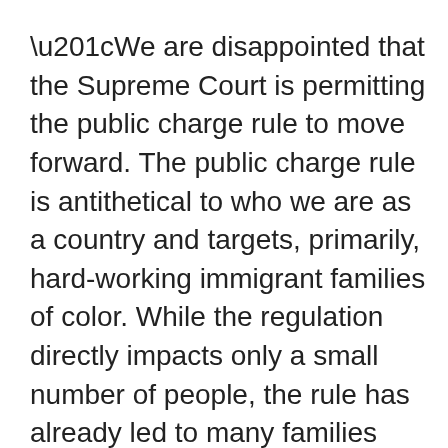“We are disappointed that the Supreme Court is permitting the public charge rule to move forward. The public charge rule is antithetical to who we are as a country and targets, primarily, hard-working immigrant families of color. While the regulation directly impacts only a small number of people, the rule has already led to many families and individuals dis-enrolling from otherwise eligible health programs. Standing in solidarity with all of our partners, APIAHF will continue to organize community action against the Trump administration’s public charge rule and protect our immigrant families from unjust policies. 2020 is a critical election year, where every vote matters. It is important, more than ever, to empower our communities in exercising their right to vote for leaders who support the American values we